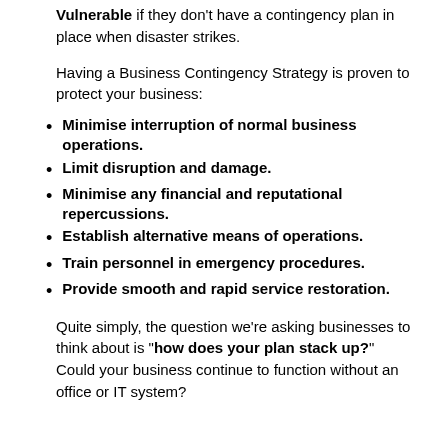Vulnerable if they don't have a contingency plan in place when disaster strikes.
Having a Business Contingency Strategy is proven to protect your business:
Minimise interruption of normal business operations.
Limit disruption and damage.
Minimise any financial and reputational repercussions.
Establish alternative means of operations.
Train personnel in emergency procedures.
Provide smooth and rapid service restoration.
Quite simply, the question we’re asking businesses to think about is “how does your plan stack up?” Could your business continue to function without an office or IT system?